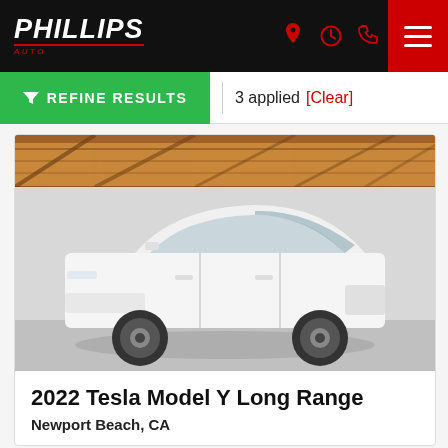PHILLIPS Auto
REFINE RESULTS | 3 applied [Clear]
[Figure (photo): White 2022 Tesla Model Y Long Range SUV photographed in a garage/warehouse setting with wooden beam ceiling. Three-quarter front view showing sleek white exterior and black alloy wheels.]
2022 Tesla Model Y Long Range
Newport Beach, CA